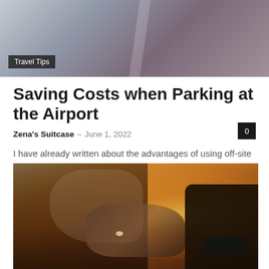[Figure (photo): Top photo of a parking structure or building exterior with muted purple-gray tones and a diagonal white stripe, partially cropped]
Travel Tips
Saving Costs when Parking at the Airport
Zena's Suitcase – June 1, 2022
I have already written about the advantages of using off-site official airport parking at Manchester or Gatwick Airport in the Travel Tips section. Today,...
[Figure (photo): Photo of a woman with golden sunset backlight, her hand featuring a ring, with a smartwatch on another wrist visible in the frame]